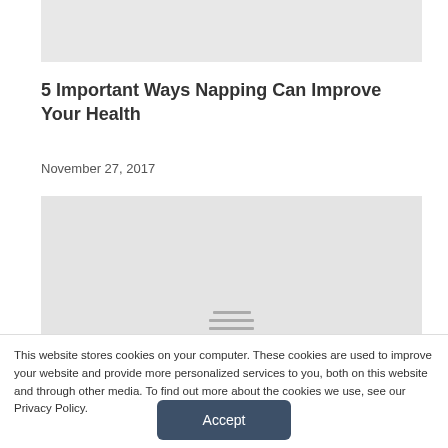[Figure (photo): Gray placeholder image at top of article]
5 Important Ways Napping Can Improve Your Health
November 27, 2017
[Figure (illustration): Gray placeholder image with hamburger menu icon overlay]
This website stores cookies on your computer. These cookies are used to improve your website and provide more personalized services to you, both on this website and through other media. To find out more about the cookies we use, see our Privacy Policy.
Accept